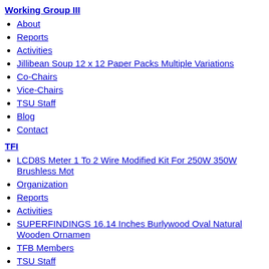Working Group III
About
Reports
Activities
Jillibean Soup 12 x 12 Paper Packs Multiple Variations
Co-Chairs
Vice-Chairs
TSU Staff
Blog
Contact
TFI
LCD8S Meter 1 To 2 Wire Modified Kit For 250W 350W Brushless Mot
Organization
Reports
Activities
SUPERFINDINGS 16.14 Inches Burlywood Oval Natural Wooden Ornamen
TFB Members
TSU Staff
Contact